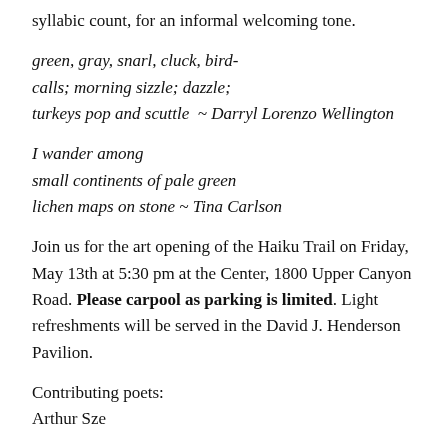syllabic count, for an informal welcoming tone.
green, gray, snarl, cluck, bird-calls; morning sizzle; dazzle; turkeys pop and scuttle  ~ Darryl Lorenzo Wellington
I wander among small continents of pale green lichen maps on stone ~ Tina Carlson
Join us for the art opening of the Haiku Trail on Friday, May 13th at 5:30 pm at the Center, 1800 Upper Canyon Road. Please carpool as parking is limited. Light refreshments will be served in the David J. Henderson Pavilion.
Contributing poets:
Arthur Sze